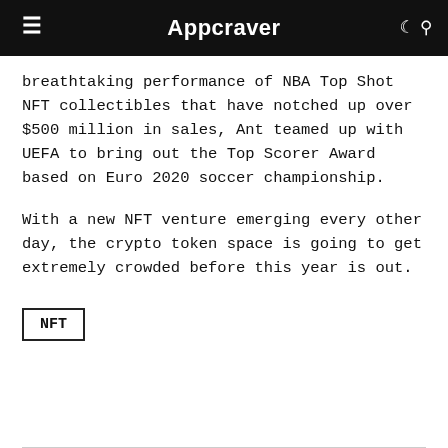Appcraver
breathtaking performance of NBA Top Shot NFT collectibles that have notched up over $500 million in sales, Ant teamed up with UEFA to bring out the Top Scorer Award based on Euro 2020 soccer championship.
With a new NFT venture emerging every other day, the crypto token space is going to get extremely crowded before this year is out.
NFT